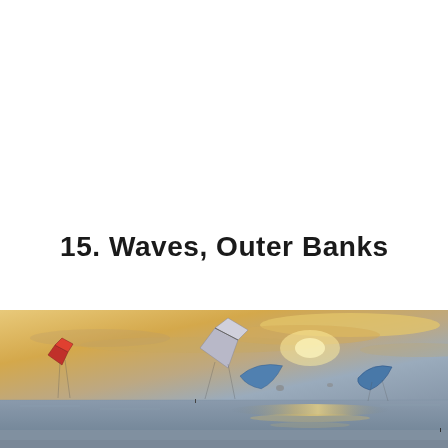15. Waves, Outer Banks
[Figure (photo): Kitesurfers flying colorful kites over a calm ocean at sunset with golden and blue sky]